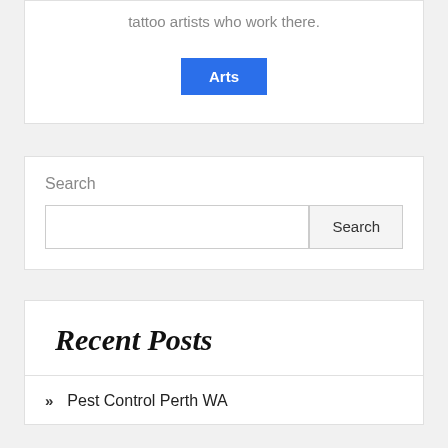tattoo artists who work there.
Arts
Search
Search
Recent Posts
» Pest Control Perth WA